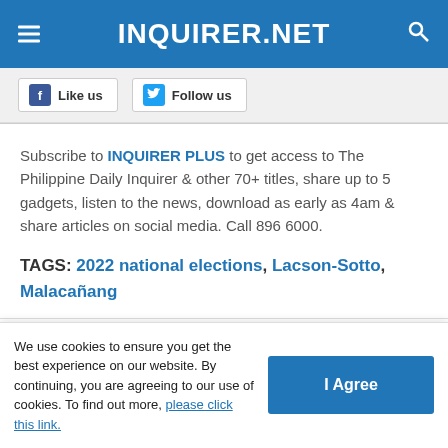INQUIRER.NET
[Figure (screenshot): Social media buttons: Like us (Facebook) and Follow us (Twitter)]
Subscribe to INQUIRER PLUS to get access to The Philippine Daily Inquirer & other 70+ titles, share up to 5 gadgets, listen to the news, download as early as 4am & share articles on social media. Call 896 6000.
TAGS: 2022 national elections, Lacson-Sotto, Malacañang
For feedback, complaints, or inquiries contact us
We use cookies to ensure you get the best experience on our website. By continuing, you are agreeing to our use of cookies. To find out more, please click this link.